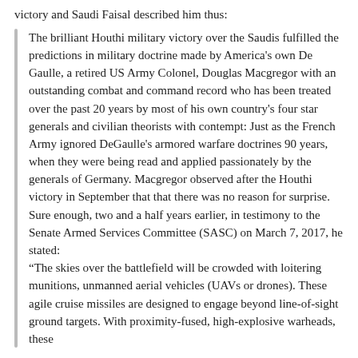victory and Saudi Faisal described him thus:
The brilliant Houthi military victory over the Saudis fulfilled the predictions in military doctrine made by America's own De Gaulle, a retired US Army Colonel, Douglas Macgregor with an outstanding combat and command record who has been treated over the past 20 years by most of his own country's four star generals and civilian theorists with contempt: Just as the French Army ignored DeGaulle's armored warfare doctrines 90 years, when they were being read and applied passionately by the generals of Germany. Macgregor observed after the Houthi victory in September that that there was no reason for surprise. Sure enough, two and a half years earlier, in testimony to the Senate Armed Services Committee (SASC) on March 7, 2017, he stated: “The skies over the battlefield will be crowded with loitering munitions, unmanned aerial vehicles (UAVs or drones). These agile cruise missiles are designed to engage beyond line-of-sight ground targets. With proximity-fused, high-explosive warheads, these